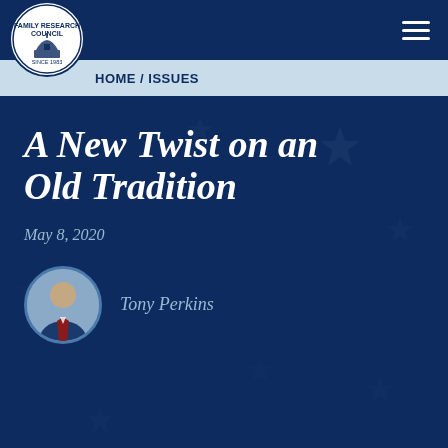HOME / ISSUES
A New Twist on an Old Tradition
May 8, 2020
Tony Perkins